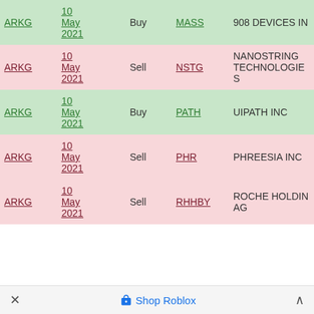| Fund | Date | Action | Ticker | Company |
| --- | --- | --- | --- | --- |
| ARKG | 10 May 2021 | Buy | MASS | 908 DEVICES IN |
| ARKG | 10 May 2021 | Sell | NSTG | NANOSTRING TECHNOLOGIES |
| ARKG | 10 May 2021 | Buy | PATH | UIPATH INC |
| ARKG | 10 May 2021 | Sell | PHR | PHREESIA INC |
| ARKG | 10 May 2021 | Sell | RHHBY | ROCHE HOLDING AG |
× 🏷 Shop Roblox ^